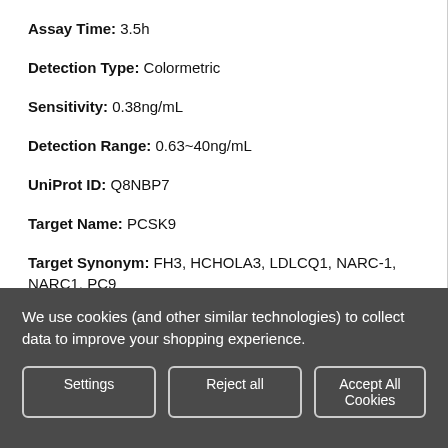Assay Time: 3.5h
Detection Type: Colormetric
Sensitivity: 0.38ng/mL
Detection Range: 0.63~40ng/mL
UniProt ID: Q8NBP7
Target Name: PCSK9
Target Synonym: FH3, HCHOLA3, LDLCQ1, NARC-1, NARC1, PC9
Tested Sample Types: Serum, plasma and other
We use cookies (and other similar technologies) to collect data to improve your shopping experience.
Settings
Reject all
Accept All Cookies